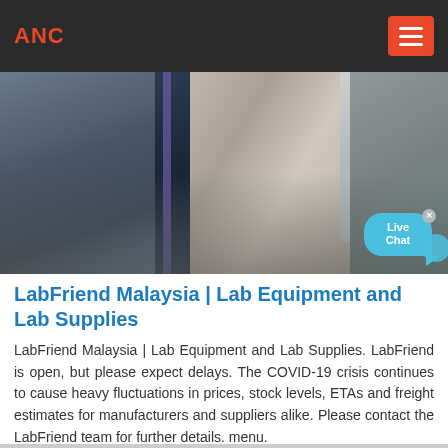ANC
[Figure (photo): Aerial or close-up photograph of industrial quarry/mining equipment — conveyor belt machinery with aggregate/gravel material, with a Live Chat bubble overlay in the bottom-right corner.]
LabFriend Malaysia | Lab Equipment and Lab Supplies
LabFriend Malaysia | Lab Equipment and Lab Supplies. LabFriend is open, but please expect delays. The COVID-19 crisis continues to cause heavy fluctuations in prices, stock levels, ETAs and freight estimates for manufacturers and suppliers alike. Please contact the LabFriend team for further details. menu.